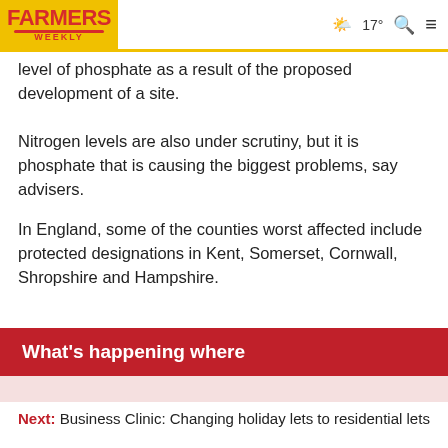FARMERS WEEKLY | 17° [weather icon] [search icon] [menu icon]
level of phosphate as a result of the proposed development of a site.
Nitrogen levels are also under scrutiny, but it is phosphate that is causing the biggest problems, say advisers.
In England, some of the counties worst affected include protected designations in Kent, Somerset, Cornwall, Shropshire and Hampshire.
What's happening where
Next: Business Clinic: Changing holiday lets to residential lets